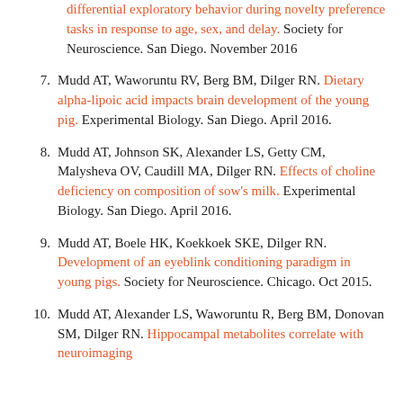differential exploratory behavior during novelty preference tasks in response to age, sex, and delay. Society for Neuroscience. San Diego. November 2016
7. Mudd AT, Waworuntu RV, Berg BM, Dilger RN. Dietary alpha-lipoic acid impacts brain development of the young pig. Experimental Biology. San Diego. April 2016.
8. Mudd AT, Johnson SK, Alexander LS, Getty CM, Malysheva OV, Caudill MA, Dilger RN. Effects of choline deficiency on composition of sow's milk. Experimental Biology. San Diego. April 2016.
9. Mudd AT, Boele HK, Koekkoek SKE, Dilger RN. Development of an eyeblink conditioning paradigm in young pigs. Society for Neuroscience. Chicago. Oct 2015.
10. Mudd AT, Alexander LS, Waworuntu R, Berg BM, Donovan SM, Dilger RN. Hippocampal metabolites correlate with neuroimaging